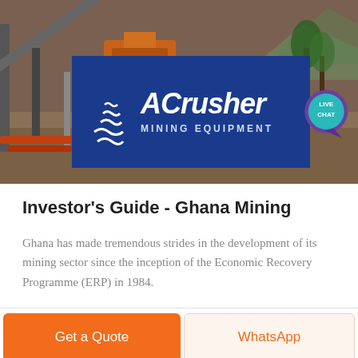[Figure (photo): Mining equipment/machinery banner photo with ACrusher Mining Equipment logo overlay on blue background with triangle logo mark, and a teal 'LIVE CHAT' speech bubble in the top right corner.]
Investor's Guide - Ghana Mining
Ghana has made tremendous strides in the development of its mining sector since the inception of the Economic Recovery Programme (ERP) in 1984.
Get a Quote | WhatsApp